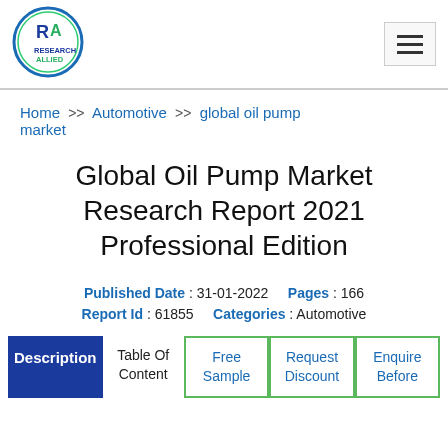[Figure (logo): Research Allied logo — circular blue/green border with 'RA' monogram and 'RESEARCH ALLIED' text]
Home >> Automotive >> global oil pump market
Global Oil Pump Market Research Report 2021 Professional Edition
Published Date : 31-01-2022   Pages : 166   Report Id : 61855   Categories : Automotive
| Description | Table Of Content | Free Sample | Request Discount | Enquire Before |
| --- | --- | --- | --- | --- |